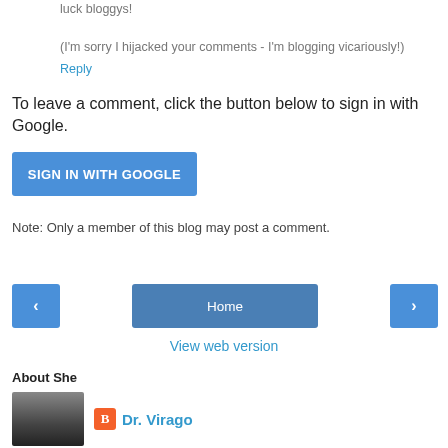luck bloggys!

(I'm sorry I hijacked your comments - I'm blogging vicariously!)
Reply
To leave a comment, click the button below to sign in with Google.
[Figure (other): Blue button labeled SIGN IN WITH GOOGLE]
Note: Only a member of this blog may post a comment.
[Figure (other): Navigation buttons: left arrow, Home, right arrow]
View web version
About She
[Figure (photo): Small thumbnail photo of a person]
Dr. Virago